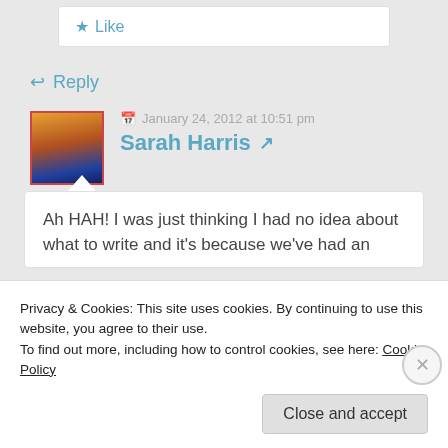★ Like
↩ Reply
January 24, 2012 at 10:51 pm
Sarah Harris ↗
Ah HAH! I was just thinking I had no idea about what to write and it's because we've had an
Privacy & Cookies: This site uses cookies. By continuing to use this website, you agree to their use.
To find out more, including how to control cookies, see here: Cookie Policy
Close and accept